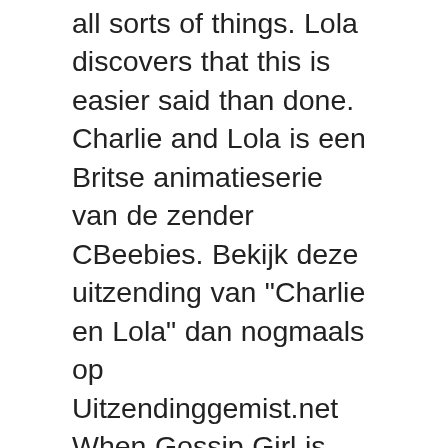all sorts of things. Lola discovers that this is easier said than done. Charlie and Lola is een Britse animatieserie van de zender CBeebies. Bekijk deze uitzending van "Charlie en Lola" dan nogmaals op Uitzendinggemist.net When Gossip Girl is revealed in New York, I Love You XOXO, Lola is seen reading the blast about Gossip Girl's identity and replying wit… The series is geared toward preschoolers and incorporates family values, humor and the power of … Granny and Grandpa have bought Lola an alligator costume. On the back of "Charlie and Lola: One" Lola comments on this episode, writing "Achooo!". Although in this episode it is claimed that Lola is sleeping